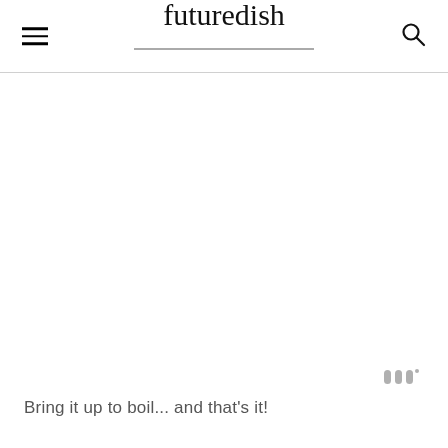futuredish
[Figure (photo): Large white/blank image area below the site header, with a small watermark logo in the bottom-right corner of the image area.]
Bring it up to boil... and that's it!